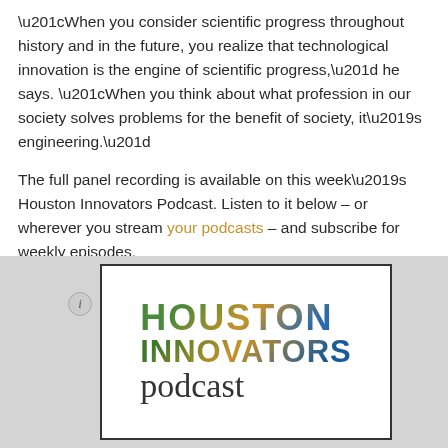“When you consider scientific progress throughout history and in the future, you realize that technological innovation is the engine of scientific progress,” he says. “When you think about what profession in our society solves problems for the benefit of society, it’s engineering.”
The full panel recording is available on this week’s Houston Innovators Podcast. Listen to it below – or wherever you stream your podcasts – and subscribe for weekly episodes.
[Figure (other): Houston Innovators Podcast logo/widget with a gray background, an info button on the left, and a white card with border showing the Houston Innovators podcast logo text.]